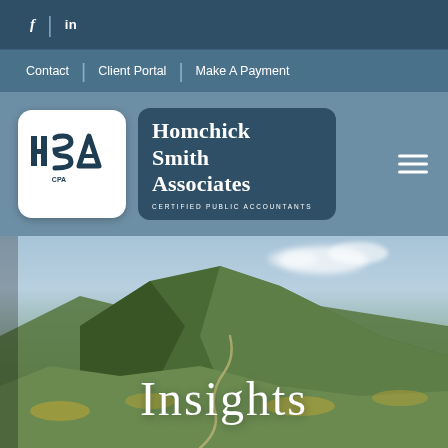f | in
Contact | Client Portal | Make A Payment
[Figure (logo): Homchick Smith Associates CPA firm logo with HSA initials in a white rounded square and company name in dark teal rounded rectangle]
Insights